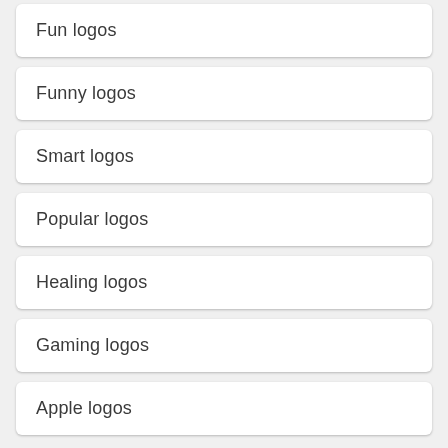Fun logos
Funny logos
Smart logos
Popular logos
Healing logos
Gaming logos
Apple logos